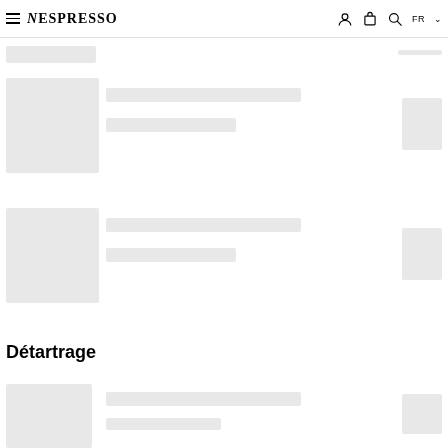NESPRESSO — navigation bar with hamburger menu, user icon, cart icon, search icon, FR language selector
[Figure (screenshot): Skeleton loading placeholder — small horizontal grey bar top left]
[Figure (screenshot): Skeleton loading placeholder — small horizontal grey bar top right]
[Figure (screenshot): Skeleton loading card row 1: square image placeholder left, two text line placeholders center, small square placeholder right]
[Figure (screenshot): Skeleton loading card row 2: square image placeholder left, two text line placeholders center, small square placeholder right]
Détartrage
[Figure (screenshot): Skeleton loading card row 3 (partial): square image placeholder left, two text line placeholders center, small square placeholder right (partially visible)]